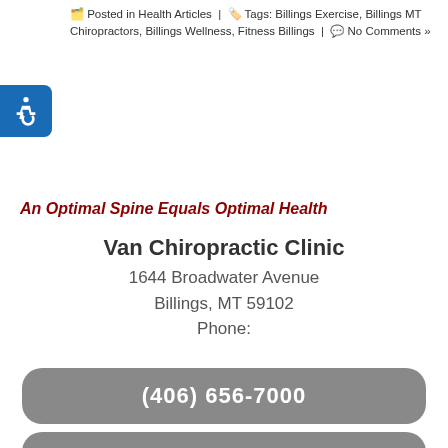Posted in Health Articles | Tags: Billings Exercise, Billings MT Chiropractors, Billings Wellness, Fitness Billings | No Comments »
[Figure (illustration): Accessibility widget icon (wheelchair symbol) on blue rounded rectangle, positioned top-left]
An Optimal Spine Equals Optimal Health
Van Chiropractic Clinic
1644 Broadwater Avenue
Billings, MT 59102
Phone:
(406) 656-7000